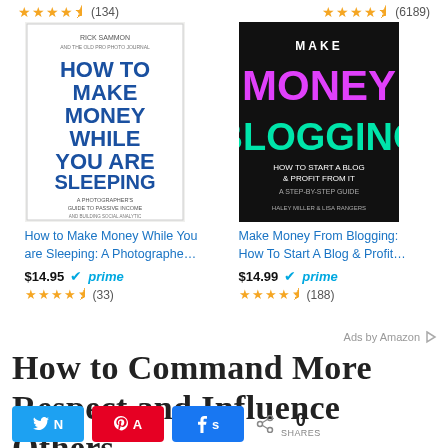[Figure (other): Amazon product ad showing two books: 'How to Make Money While You are Sleeping: A Photographer's Guide to Passive Income' and 'Make Money From Blogging: How To Start A Blog & Profit...' with star ratings, prices, and Prime badges]
Ads by Amazon
How to Command More Respect and Influence Others
[Figure (infographic): Social share buttons: Twitter, Pinterest, Facebook, and a share count showing 0 SHARES]